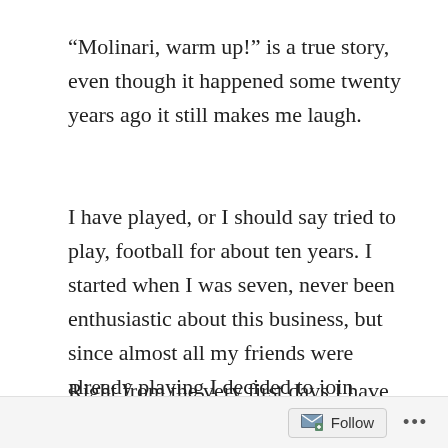“Molinari, warm up!” is a true story, even though it happened some twenty years ago it still makes me laugh.
I have played, or I should say tried to play, football for about ten years. I started when I was seven, never been enthusiastic about this business, but since almost all my friends were already playing I decided to join myself.
Right from the very first days I have been playing I knew that I would never be able to make it to the top. I could barely control the ball
Follow ...